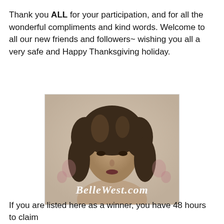Thank you ALL for your participation, and for all the wonderful compliments and kind words. Welcome to all our new friends and followers~ wishing you all a very safe and Happy Thanksgiving holiday.
[Figure (photo): Vintage sepia-toned portrait photograph of a young woman with dark curly hair, with 'BelleWest.com' written in white script across the bottom of the image.]
If you are listed here as a winner, you have 48 hours to claim